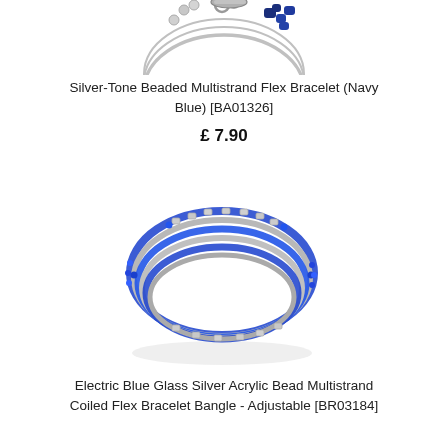[Figure (photo): Silver-tone beaded multistrand flex bracelet with navy blue beads, partially cropped at top of page]
Silver-Tone Beaded Multistrand Flex Bracelet (Navy Blue) [BA01326]
£ 7.90
[Figure (photo): Electric blue glass and silver acrylic bead multistrand coiled flex bracelet bangle, oval shape, multiple strands of blue and silver beads]
Electric Blue Glass Silver Acrylic Bead Multistrand Coiled Flex Bracelet Bangle - Adjustable [BR03184]